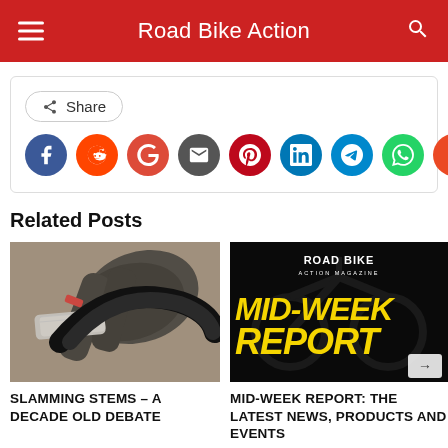Road Bike Action
[Figure (screenshot): Share button with social media icons: Facebook, Reddit, Google, Email, Pinterest, LinkedIn, Telegram, WhatsApp, StumbleUpon]
Related Posts
[Figure (photo): Close-up photo of road bike handlebars and stem with dark bar tape]
SLAMMING STEMS – A DECADE OLD DEBATE
[Figure (photo): Road Bike Action Magazine Mid-Week Report promotional image with yellow text on dark background]
MID-WEEK REPORT: THE LATEST NEWS, PRODUCTS AND EVENTS